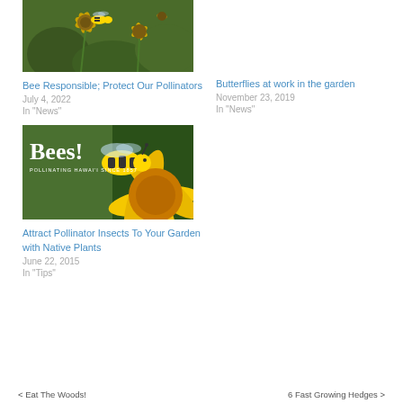[Figure (photo): Close-up photo of bees on yellow flowers with green background]
Bee Responsible; Protect Our Pollinators
July 4, 2022
In "News"
Butterflies at work in the garden
November 23, 2019
In "News"
[Figure (photo): BEES! poster with bee on yellow flower, text reads 'BEES! Pollinating Hawaii Since 1857']
Attract Pollinator Insects To Your Garden with Native Plants
June 22, 2015
In "Tips"
< Eat The Woods!    6 Fast Growing Hedges >